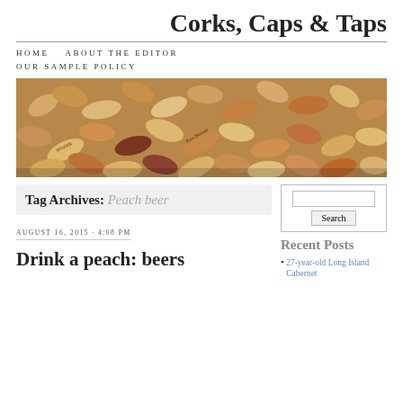Corks, Caps & Taps
HOME   ABOUT THE EDITOR   OUR SAMPLE POLICY
[Figure (photo): A banner photo showing a pile of wine corks, various sizes and colors, some branded (e.g. Ecco Domani, Shafer)]
Tag Archives: Peach beer
AUGUST 16, 2015 · 4:08 PM
Drink a peach: beers
[Figure (screenshot): Search box with a Search button]
Recent Posts
27-year-old Long Island Cabernet